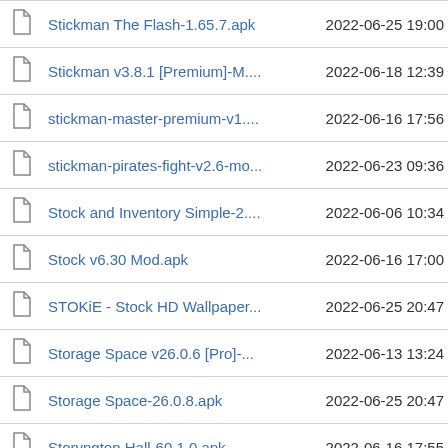|  | Name | Date |
| --- | --- | --- |
|  | Stickman The Flash-1.65.7.apk | 2022-06-25 19:00 |
|  | Stickman v3.8.1 [Premium]-M.... | 2022-06-18 12:39 |
|  | stickman-master-premium-v1.... | 2022-06-16 17:56 |
|  | stickman-pirates-fight-v2.6-mo... | 2022-06-23 09:36 |
|  | Stock and Inventory Simple-2.... | 2022-06-06 10:34 |
|  | Stock v6.30 Mod.apk | 2022-06-16 17:00 |
|  | STOKiE - Stock HD Wallpaper... | 2022-06-25 20:47 |
|  | Storage Space v26.0.6 [Pro]-... | 2022-06-13 13:24 |
|  | Storage Space-26.0.8.apk | 2022-06-25 20:47 |
|  | Storyngton Hall-60.1.0.apk | 2022-06-16 17:55 |
|  | Stoxy Pro v6.3.4 Mod.apk | 2022-06-11 16:01 |
|  | Stretch Guy-0.5.15.apk | 2022-06-25 18:00 |